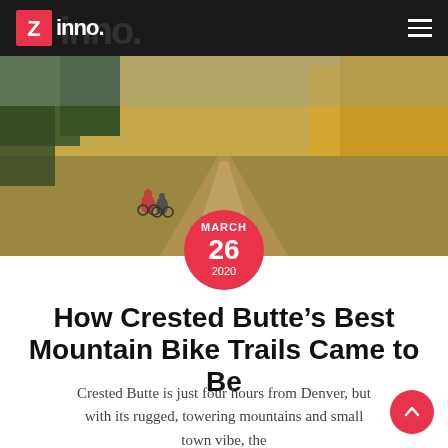inno.
[Figure (photo): Two cyclists riding on a dirt road through golden autumn fields with yellow aspen trees in the background, mountain landscape]
MARCH 26 2020
How Crested Butte’s Best Mountain Bike Trails Came to Be
Crested Butte is just four hours from Denver, but with its rugged, towering mountains and small town vibe, the